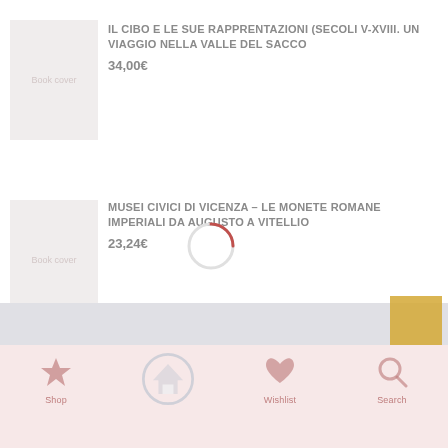IL CIBO E LE SUE RAPPRENTAZIONI (secoli V-XVIII. Un viaggio nella Valle del Sacco
34,00€
MUSEI CIVICI DI VICENZA – LE MONETE ROMANE IMPERIALI DA AUGUSTO A VITELLIO
23,24€